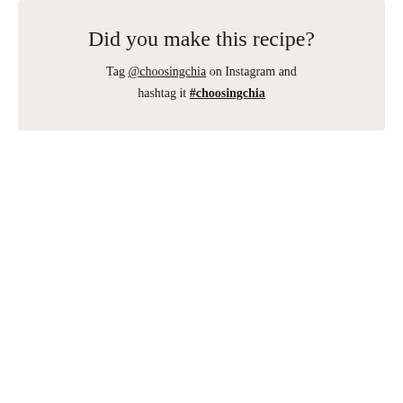Did you make this recipe?
Tag @choosingchia on Instagram and hashtag it #choosingchia